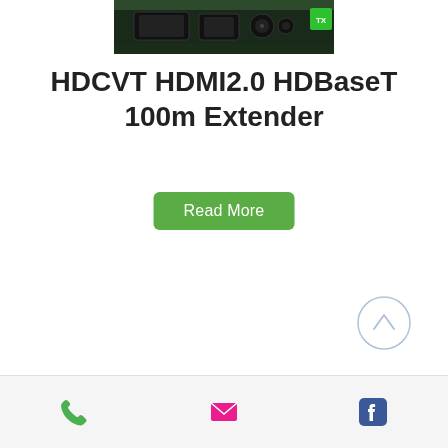[Figure (photo): Top portion of a PCB/hardware card with HDMI and other connectors visible, green LED indicator, labeled 'TX' in white on dark green background]
HDCVT HDMI2.0 HDBaseT 100m Extender
Read More
[Figure (other): Scroll-to-top navigation button: circle with upward chevron arrow, light blue/gray border]
[Figure (photo): Two dark gray/black HDMI extender hardware units side by side, showing HDMI ports and buttons on front panels]
Phone | Email | Facebook icons in bottom navigation bar